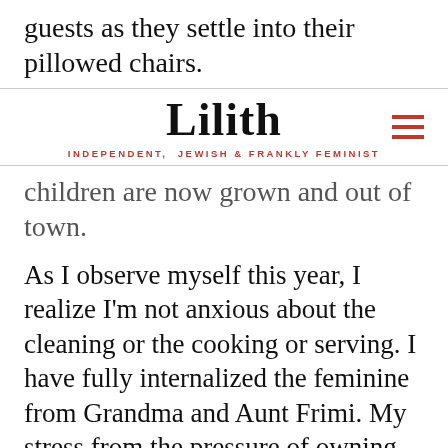guests as they settle into their pillowed chairs.
Lilith — INDEPENDENT, JEWISH & FRANKLY FEMINIST
children are now grown and out of town.
As I observe myself this year, I realize I'm not anxious about the cleaning or the cooking or serving. I have fully internalized the feminine from Grandma and Aunt Frimi. My stress from the pressure of owning the masculine, of designing and leading a meaningful seder, has dissipated. Like our ancestors, I have been on a journey I didn't want. I seem to have traveled from angry-and-passive participant, to happy